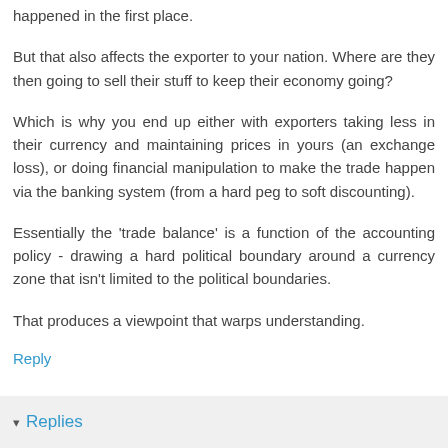happened in the first place.
But that also affects the exporter to your nation. Where are they then going to sell their stuff to keep their economy going?
Which is why you end up either with exporters taking less in their currency and maintaining prices in yours (an exchange loss), or doing financial manipulation to make the trade happen via the banking system (from a hard peg to soft discounting).
Essentially the 'trade balance' is a function of the accounting policy - drawing a hard political boundary around a currency zone that isn't limited to the political boundaries.
That produces a viewpoint that warps understanding.
Reply
▾ Replies